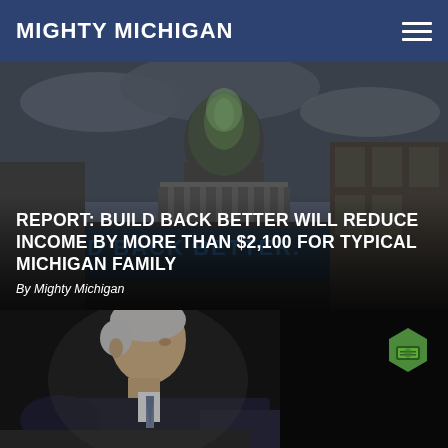MIGHTY MICHIGAN
[Figure (photo): Photo of US Capitol building in dark/cloudy conditions with a green-lit dome and a 'Build Back Better' banner visible in the foreground]
REPORT: BUILD BACK BETTER WILL REDUCE INCOME BY MORE THAN $2,100 FOR TYPICAL MICHIGAN FAMILY
By Mighty Michigan
[Figure (photo): Dark photo of President Biden speaking at a podium, profile view, with a green money/cash hexagon icon badge in the upper right]